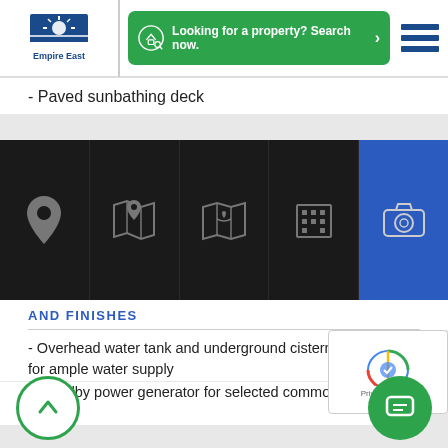[Figure (logo): Empire East logo with sun/rays and blue text 'Empire East']
[Figure (screenshot): Green button with house-search icon and text 'Looking for a property? Search now.' with arrow]
[Figure (infographic): Navigation icon bar with 5 cells: location pin, map with pin, folded map, building/grid, camera - last cell highlighted blue]
- Paved sunbathing deck
AND FINISHES
- Overhead water tank and underground cistern for ample water supply
- Standby power generator for selected common areas
- Building administration- Ceramic tiles in living and dining areas, kitchen, and bedroom